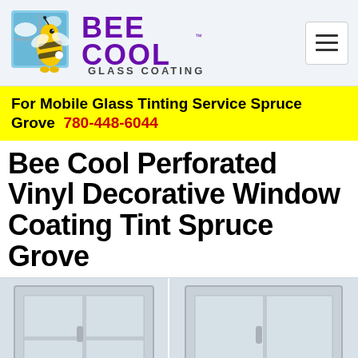[Figure (logo): Bee Cool Glass Coating logo with cartoon bee mascot and purple text]
For Mobile Glass Tinting Service Spruce Grove  780-448-6044
Bee Cool Perforated Vinyl Decorative Window Coating Tint Spruce Grove
[Figure (photo): Two side-by-side photos of windows with decorative perforated vinyl coating applied]